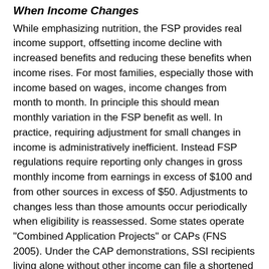When Income Changes
While emphasizing nutrition, the FSP provides real income support, offsetting income decline with increased benefits and reducing these benefits when income rises. For most families, especially those with income based on wages, income changes from month to month. In principle this should mean monthly variation in the FSP benefit as well. In practice, requiring adjustment for small changes in income is administratively inefficient. Instead FSP regulations require reporting only changes in gross monthly income from earnings in excess of $100 and from other sources in excess of $50. Adjustments to changes less than those amounts occur periodically when eligibility is reassessed. Some states operate "Combined Application Projects" or CAPs (FNS 2005). Under the CAP demonstrations, SSI recipients living alone without other income can file a shortened Food Stamp application without having a face-to-face interview at the FSP office. Benefit amounts are either standardized or calculated automatically based on a standard shelter and medical expense deduction. An application constructed from the SSA interview is transferred to the FSP office electronically. As of mid-2007, 11 states were operating CAPs in some locations.⁴ CAP cases are expected to